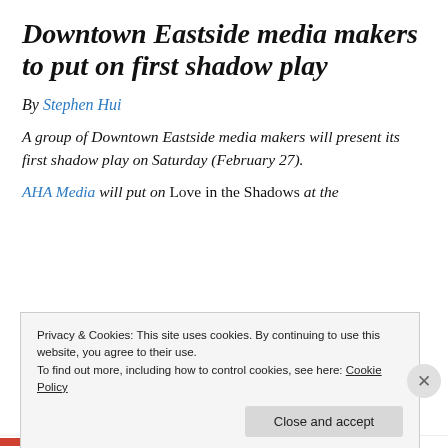Downtown Eastside media makers to put on first shadow play
By Stephen Hui
A group of Downtown Eastside media makers will present its first shadow play on Saturday (February 27).
AHA Media will put on Love in the Shadows at the
Privacy & Cookies: This site uses cookies. By continuing to use this website, you agree to their use.
To find out more, including how to control cookies, see here: Cookie Policy